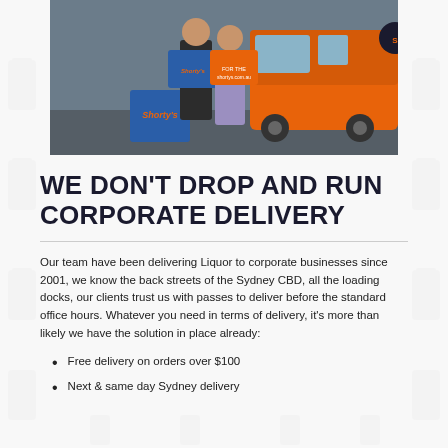[Figure (photo): Two people holding blue 'Shorty's' branded boxes in front of an orange delivery van. A blue Shorty's box sits on the ground in front of them.]
WE DON'T DROP AND RUN CORPORATE DELIVERY
Our team have been delivering Liquor to corporate businesses since 2001, we know the back streets of the Sydney CBD, all the loading docks, our clients trust us with passes to deliver before the standard office hours. Whatever you need in terms of delivery, it's more than likely we have the solution in place already:
Free delivery on orders over $100
Next & same day Sydney delivery